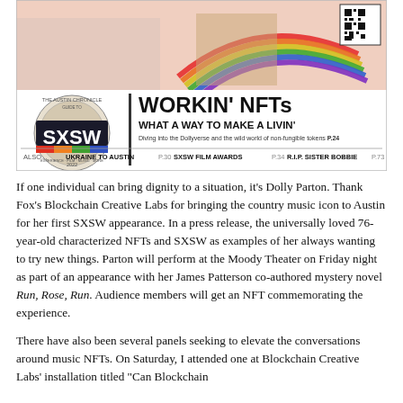[Figure (illustration): Austin Chronicle SXSW 2022 magazine cover showing a person playing a rainbow guitar, with headline 'WORKIN' NFTs WHAT A WAY TO MAKE A LIVIN'' and subheadlines about Ukraine to Austin, SXSW Film Awards, and R.I.P. Sister Bobbie]
If one individual can bring dignity to a situation, it's Dolly Parton. Thank Fox's Blockchain Creative Labs for bringing the country music icon to Austin for her first SXSW appearance. In a press release, the universally loved 76-year-old characterized NFTs and SXSW as examples of her always wanting to try new things. Parton will perform at the Moody Theater on Friday night as part of an appearance with her James Patterson co-authored mystery novel Run, Rose, Run. Audience members will get an NFT commemorating the experience.
There have also been several panels seeking to elevate the conversations around music NFTs. On Saturday, I attended one at Blockchain Creative Labs' installation titled "Can Blockchain